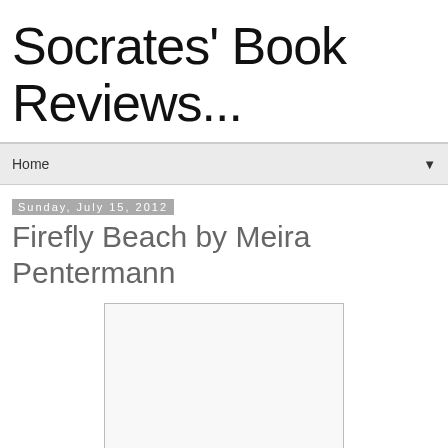Socrates' Book Reviews...
Home
Sunday, July 15, 2012
Firefly Beach by Meira Pentermann
[Figure (other): Book cover placeholder image — white rectangle with light gray border]